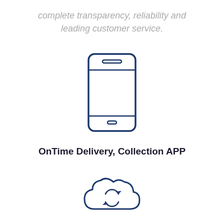complete transparency, reliability and leading customer service.
[Figure (illustration): Line-art icon of a smartphone (mobile phone outline with speaker slot at top and home button at bottom)]
OnTime Delivery, Collection APP
[Figure (illustration): Line-art icon of a cloud with circular arrows (sync/cloud icon)]